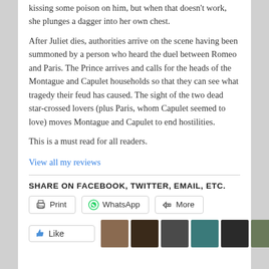kissing some poison on him, but when that doesn't work, she plunges a dagger into her own chest.
After Juliet dies, authorities arrive on the scene having been summoned by a person who heard the duel between Romeo and Paris. The Prince arrives and calls for the heads of the Montague and Capulet households so that they can see what tragedy their feud has caused. The sight of the two dead star-crossed lovers (plus Paris, whom Capulet seemed to love) moves Montague and Capulet to end hostilities.
This is a must read for all readers.
View all my reviews
SHARE ON FACEBOOK, TWITTER, EMAIL, ETC.
[Figure (other): Social share buttons: Print, WhatsApp, More]
[Figure (other): Like button and user avatar images row]